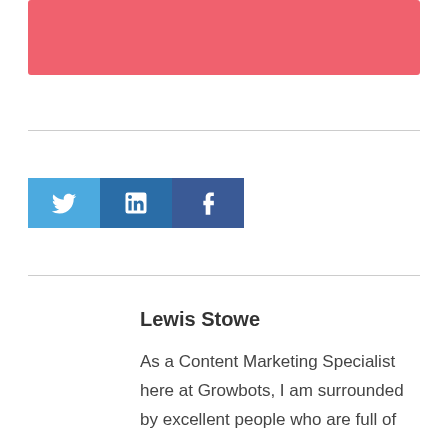[Figure (other): Pink/salmon colored banner rectangle at the top of the page]
[Figure (other): Social media share buttons: Twitter (blue bird icon), LinkedIn (in icon), Facebook (f icon)]
Lewis Stowe
As a Content Marketing Specialist here at Growbots, I am surrounded by excellent people who are full of